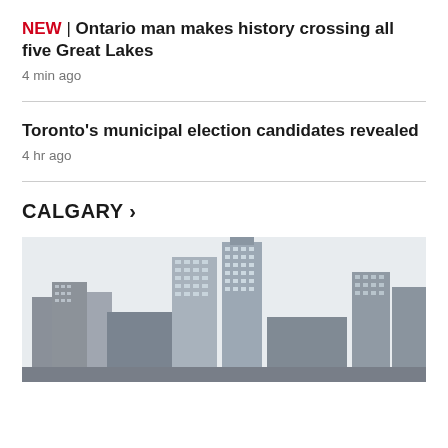NEW | Ontario man makes history crossing all five Great Lakes
4 min ago
Toronto's municipal election candidates revealed
4 hr ago
CALGARY >
[Figure (photo): Calgary city skyline with modern high-rise buildings and condominiums]